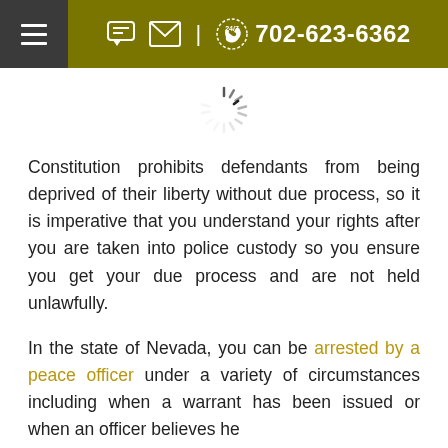☰  [chat icon] [email icon] | (24/7) 702-623-6362
[Figure (other): Loading spinner icon (circular progress indicator)]
Constitution prohibits defendants from being deprived of their liberty without due process, so it is imperative that you understand your rights after you are taken into police custody so you ensure you get your due process and are not held unlawfully.
In the state of Nevada, you can be arrested by a peace officer under a variety of circumstances including when a warrant has been issued or when an officer believes he